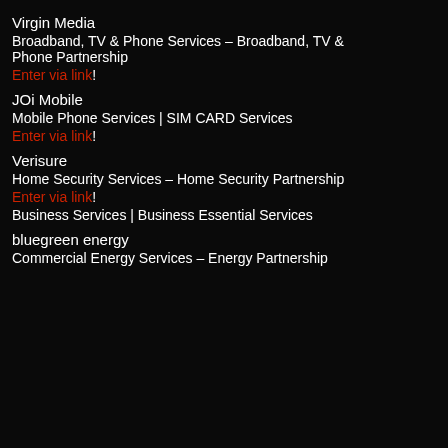Virgin Media
Broadband, TV & Phone Services – Broadband, TV & Phone Partnership
Enter via link!
JOi Mobile
Mobile Phone Services | SIM CARD Services
Enter via link!
Verisure
Home Security Services – Home Security Partnership
Enter via link!
Business Services | Business Essential Services
bluegreen energy
Commercial Energy Services – Energy Partnership